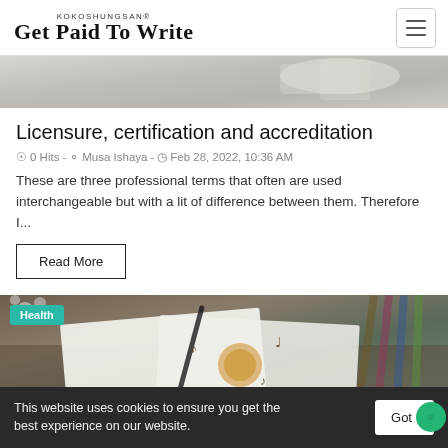KOKOSHUNGSAN® Get Paid To Write
[Figure (photo): Partial hero image at top showing hands holding a box, cropped]
Licensure, certification and accreditation
0 Hits  -  Musa Ishaya  -  Feb 28, 2022, 10:36 AM
These are three professional terms that often are used interchangeable but with a lit of difference between them. Therefore I...
Read More
[Figure (photo): Photo of drawing paper with music note alarm clock illustration and pencils, with Health badge overlay]
This website uses cookies to ensure you get the best experience on our website.